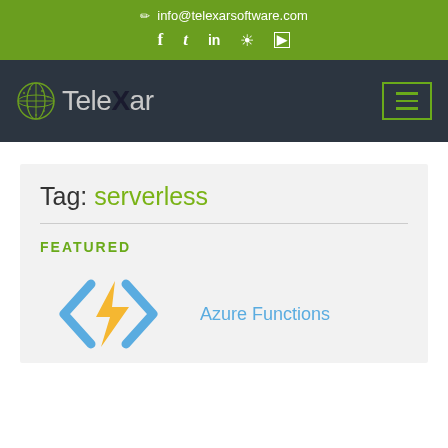info@telexarsoftware.com
[Figure (logo): TeleXar logo with globe icon on dark navigation bar, with hamburger menu button outlined in green on the right]
Tag: serverless
FEATURED
[Figure (logo): Azure Functions logo: blue angle brackets with a yellow lightning bolt, and the text 'Azure Functions' in blue]